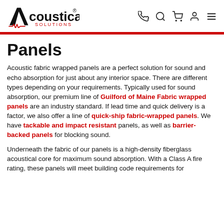Acoustical Solutions [logo with navigation icons]
Panels
Acoustic fabric wrapped panels are a perfect solution for sound and echo absorption for just about any interior space. There are different types depending on your requirements. Typically used for sound absorption, our premium line of Guilford of Maine Fabric wrapped panels are an industry standard. If lead time and quick delivery is a factor, we also offer a line of quick-ship fabric-wrapped panels. We have tackable and impact resistant panels, as well as barrier-backed panels for blocking sound.
Underneath the fabric of our panels is a high-density fiberglass acoustical core for maximum sound absorption. With a Class A fire rating, these panels will meet building code requirements for